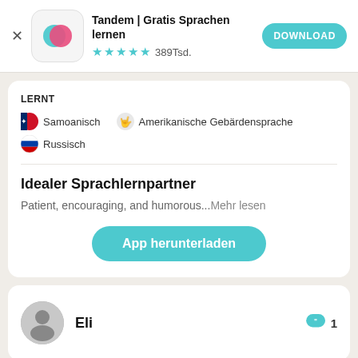[Figure (screenshot): Tandem app icon: white rounded square with teal and pink overlapping circles/speech bubbles logo]
Tandem | Gratis Sprachen lernen
★★★★½ 389Tsd.
DOWNLOAD
LERNT
Samoanisch
Amerikanische Gebärdensprache
Russisch
Idealer Sprachlernpartner
Patient, encouraging, and humorous...Mehr lesen
App herunterladen
Eli
1